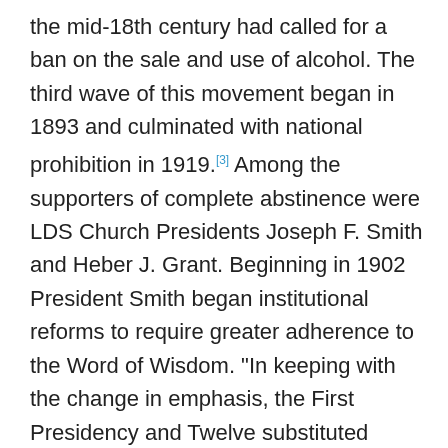the mid-18th century had called for a ban on the sale and use of alcohol. The third wave of this movement began in 1893 and culminated with national prohibition in 1919.[3] Among the supporters of complete abstinence were LDS Church Presidents Joseph F. Smith and Heber J. Grant. Beginning in 1902 President Smith began institutional reforms to require greater adherence to the Word of Wisdom. "In keeping with the change in emphasis, the First Presidency and Twelve substituted water for wine in the sacrament in their temple meetings, apparently beginning July 5, 1906."[4] Local Latter-day Saint congregations followed suit soon after, a practice that remains to this day.